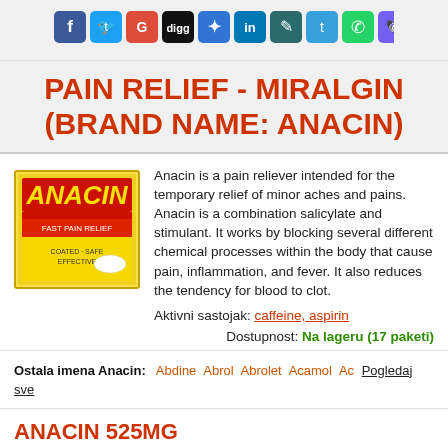[Figure (infographic): Social media sharing icons row: Facebook (blue), Twitter (blue), Google (red), Digg (black/orange), Delicious (blue), LinkedIn (blue), ShareThis (teal), Twitter bird (blue), WhatsApp (green), Viber (purple)]
PAIN RELIEF - MIRALGIN (BRAND NAME: ANACIN)
[Figure (photo): Anacin product box - yellow packaging with red ANACIN logo text]
Anacin is a pain reliever intended for the temporary relief of minor aches and pains. Anacin is a combination salicylate and stimulant. It works by blocking several different chemical processes within the body that cause pain, inflammation, and fever. It also reduces the tendency for blood to clot.
Aktivni sastojak: caffeine, aspirin
Dostupnost: Na lageru (17 paketi)
Ostala imena Anacin: Abdine  Abrol  Abrolet  Acamol  Ac  Pogledaj sve
ANACIN 525MG
|  | Paketišc | Čedina | Za Paket |  | Naražiti |
| --- | --- | --- | --- | --- | --- |
|  |  |  |  |  |  |